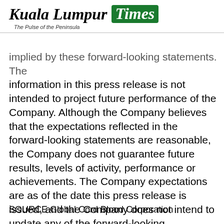Kuala Lumpur Times — The Pulse of the Peninsula
implied by these forward-looking statements. The information in this press release is not intended to project future performance of the Company. Although the Company believes that the expectations reflected in the forward-looking statements are reasonable, the Company does not guarantee future results, levels of activity, performance or achievements. The Company expectations are as of the date this press release is issued, and the Company does not intend to update any of the forward-looking statements after the date this press release is issued to conform these statements to actual results, unless required by law.
SOURCE Global Cord Blood Corporation